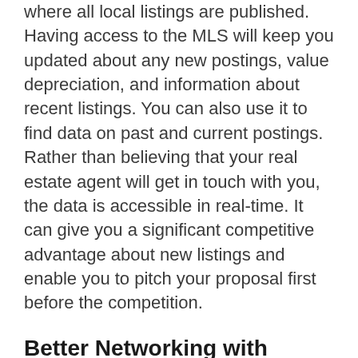where all local listings are published. Having access to the MLS will keep you updated about any new postings, value depreciation, and information about recent listings. You can also use it to find data on past and current postings. Rather than believing that your real estate agent will get in touch with you, the data is accessible in real-time. It can give you a significant competitive advantage about new listings and enable you to pitch your proposal first before the competition.
Better Networking with Greater Knowledge-
As a new real estate agent, you will be able to wear various hats. Knowing about what an investor